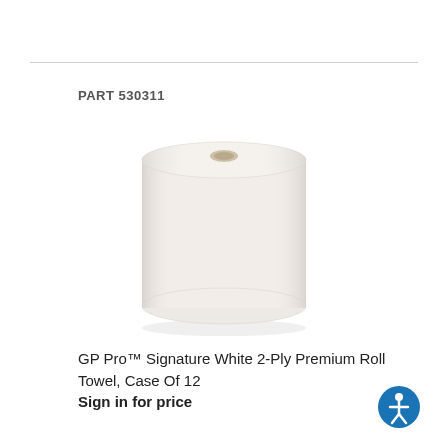PART 530311
[Figure (photo): White 2-ply premium roll paper towel on a white background. The roll is cylindrical with a visible cardboard core at the top center.]
GP Pro™ Signature White 2-Ply Premium Roll Towel, Case Of 12
Sign in for price